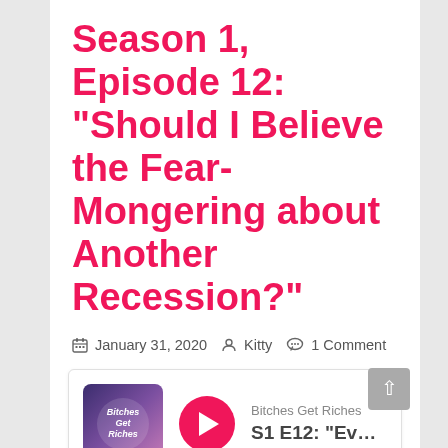Season 1, Episode 12: “Should I Believe the Fear-Mongering about Another Recession?”
January 31, 2020   Kitty   1 Comment
[Figure (screenshot): Podcast player embed card showing Bitches Get Riches logo, pink play button, podcast name 'Bitches Get Riches', and episode title 'S1 E12: "Everyo...']